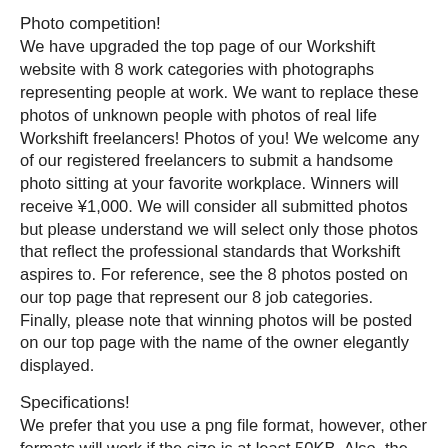Photo competition!
We have upgraded the top page of our Workshift website with 8 work categories with photographs representing people at work. We want to replace these photos of unknown people with photos of real life Workshift freelancers! Photos of you! We welcome any of our registered freelancers to submit a handsome photo sitting at your favorite workplace. Winners will receive ¥1,000. We will consider all submitted photos but please understand we will select only those photos that reflect the professional standards that Workshift aspires to. For reference, see the 8 photos posted on our top page that represent our 8 job categories. Finally, please note that winning photos will be posted on our top page with the name of the owner elegantly displayed.
Specifications!
We prefer that you use a png file format, however, other formats will work if the size is at least 50KB. Also, the photo should be square shaped format, not rectangle shaped.
Caution:
Any copyright or trademark violation of existing designs or images is prohibited. Any transfer or use of these contents is prohibited. It is prohibited to transfer job related contents to third parties.